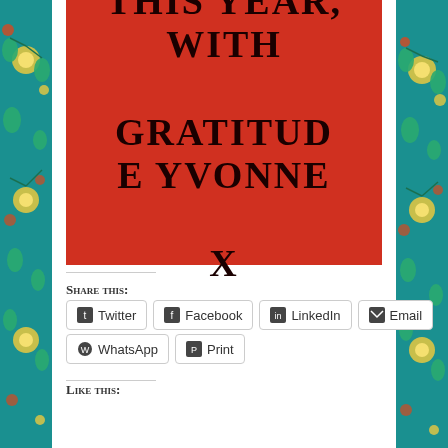[Figure (illustration): Red card with large serif text reading 'THIS YEAR, WITH GRATITUDE Yvonne X' in dark/black letters on a red background]
Share this:
Twitter | Facebook | LinkedIn | Email | WhatsApp | Print
Like this: